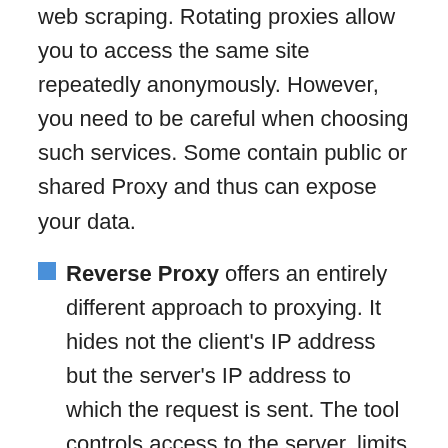web scraping. Rotating proxies allow you to access the same site repeatedly anonymously. However, you need to be careful when choosing such services. Some contain public or shared Proxy and thus can expose your data.
Reverse Proxy offers an entirely different approach to proxying. It hides not the client's IP address but the server's IP address to which the request is sent. The tool controls access to the server, limits uncontrolled access to the database, and reduces traffic by caching information. Because they act as another web server that can manage incoming requests, the bandwidth load on your organization will be remarkably reduced. But